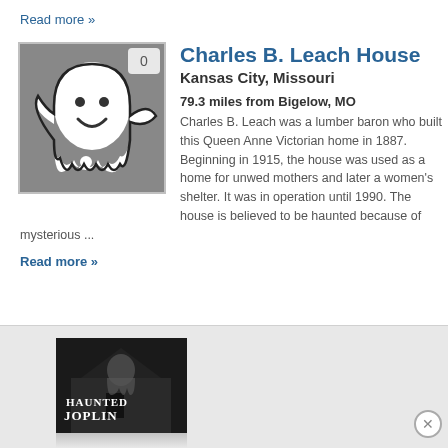Read more »
[Figure (illustration): Ghost cartoon illustration on gray background with badge showing 0]
Charles B. Leach House
Kansas City, Missouri
79.3 miles from Bigelow, MO
Charles B. Leach was a lumber baron who built this Queen Anne Victorian home in 1887. Beginning in 1915, the house was used as a home for unwed mothers and later a women's shelter. It was in operation until 1990. The house is believed to be haunted because of mysterious ...
Read more »
[Figure (photo): Haunted Joplin book/DVD cover showing dark haunted building with text HAUNTED JOPLIN]